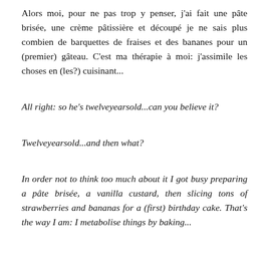Alors moi, pour ne pas trop y penser, j'ai fait une pâte brisée, une crème pâtissière et découpé je ne sais plus combien de barquettes de fraises et des bananes pour un (premier) gâteau. C'est ma thérapie à moi: j'assimile les choses en (les?) cuisinant...
All right: so he's twelveyearsold...can you believe it?
Twelveyearsold...and then what?
In order not to think too much about it I got busy preparing a pâte brisée, a vanilla custard, then slicing tons of strawberries and bananas for a (first) birthday cake. That's the way I am: I metabolise things by baking...